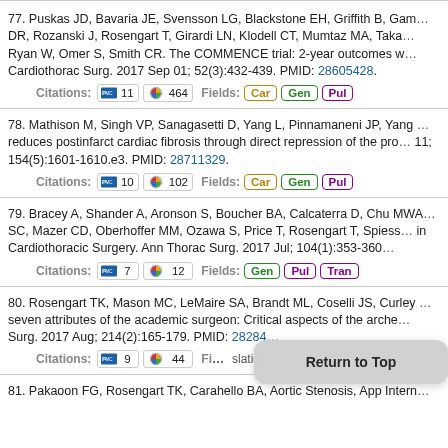77. Puskas JD, Bavaria JE, Svensson LG, Blackstone EH, Griffith B, Gam... DR, Rozanski J, Rosengart T, Girardi LN, Klodell CT, Mumtaz MA, Taka... Ryan W, Omer S, Smith CR. The COMMENCE trial: 2-year outcomes w... Cardiothorac Surg. 2017 Sep 01; 52(3):432-439. PMID: 28605428. Citations: PMC 11 Altmetric 464 Fields: Car Gen Pul
78. Mathison M, Singh VP, Sanagasetti D, Yang L, Pinnamaneni JP, Yang ... reduces postinfarct cardiac fibrosis through direct repression of the pro... 11; 154(5):1601-1610.e3. PMID: 28711329. Citations: PMC 10 Altmetric 102 Fields: Car Gen Pul
79. Bracey A, Shander A, Aronson S, Boucher BA, Calcaterra D, Chu MWA... SC, Mazer CD, Oberhoffer MM, Ozawa S, Price T, Rosengart T, Spiess... in Cardiothoracic Surgery. Ann Thorac Surg. 2017 Jul; 104(1):353-360. Citations: PMC 7 Altmetric 12 Fields: Gen Pul Tran
80. Rosengart TK, Mason MC, LeMaire SA, Brandt ML, Coselli JS, Curley ... seven attributes of the academic surgeon: Critical aspects of the arche... Surg. 2017 Aug; 214(2):165-179. PMID: 28284... Citations: PMC 9 Altmetric 44 Fields: ... slatio
81. Pakaoon FG, Rosengart TK, Carahallo BA, Aortic Stenosis, App Intern...